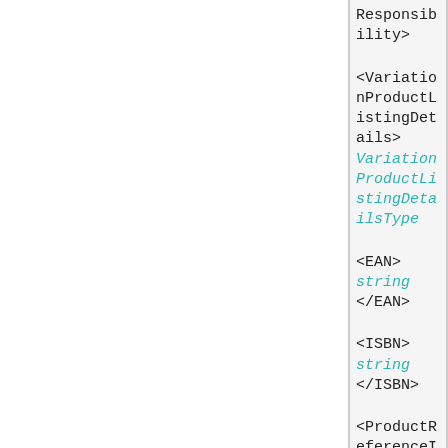Responsibility>
<VariationProductListingDetails> VariationProductListingDetailsType
<EAN> string </EAN>
<ISBN> string </ISBN>
<ProductReferenceID> string